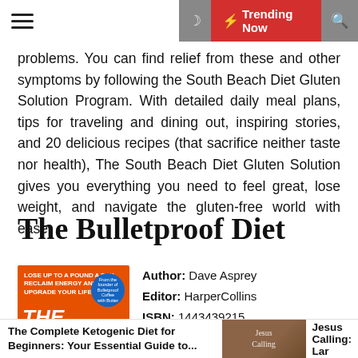Trending Now
problems. You can find relief from these and other symptoms by following the South Beach Diet Gluten Solution Program. With detailed daily meal plans, tips for traveling and dining out, inspiring stories, and 20 delicious recipes (that sacrifice neither taste nor health), The South Beach Diet Gluten Solution gives you everything you need to feel great, lose weight, and navigate the gluten-free world with ease.
The Bulletproof Diet
Author: Dave Asprey
Editor: HarperCollins
ISBN: 1443439215
FileSize: 943kb
File Format: Pdf
Read: 943
[Figure (photo): Book cover of The Bulletproof Diet showing orange cover with white bold italic text]
The Complete Ketogenic Diet for Beginners: Your Essential Guide to...   Jesus Calling: Lar